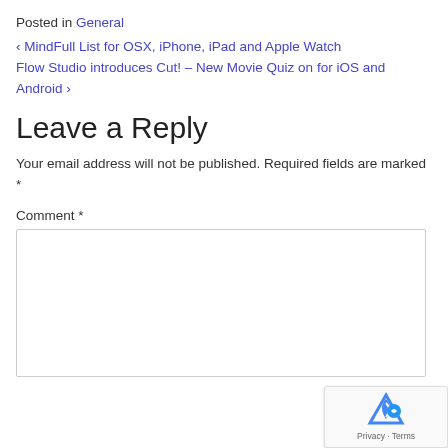Posted in General
‹ MindFull List for OSX, iPhone, iPad and Apple Watch
Flow Studio introduces Cut! – New Movie Quiz on for iOS and Android ›
Leave a Reply
Your email address will not be published. Required fields are marked *
Comment *